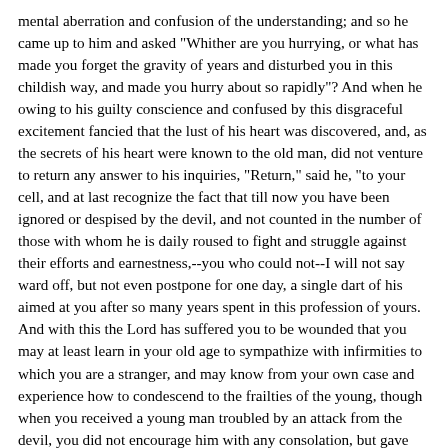mental aberration and confusion of the understanding; and so he came up to him and asked "Whither are you hurrying, or what has made you forget the gravity of years and disturbed you in this childish way, and made you hurry about so rapidly"? And when he owing to his guilty conscience and confused by this disgraceful excitement fancied that the lust of his heart was discovered, and, as the secrets of his heart were known to the old man, did not venture to return any answer to his inquiries, "Return," said he, "to your cell, and at last recognize the fact that till now you have been ignored or despised by the devil, and not counted in the number of those with whom he is daily roused to fight and struggle against their efforts and earnestness,--you who could not--I will not say ward off, but not even postpone for one day, a single dart of his aimed at you after so many years spent in this profession of yours. And with this the Lord has suffered you to be wounded that you may at least learn in your old age to sympathize with infirmities to which you are a stranger, and may know from your own case and experience how to condescend to the frailties of the young, though when you received a young man troubled by an attack from the devil, you did not encourage him with any consolation, but gave him up in dejection and destructive despair into the hands of the enemy, to be, as far as you were concerned, miserably destroyed by him. But the enemy would certainly never have attacked him with so fierce an onslaught, with which he has up till now scorned to attack you, unless in his jealousy at the progress he was to make,